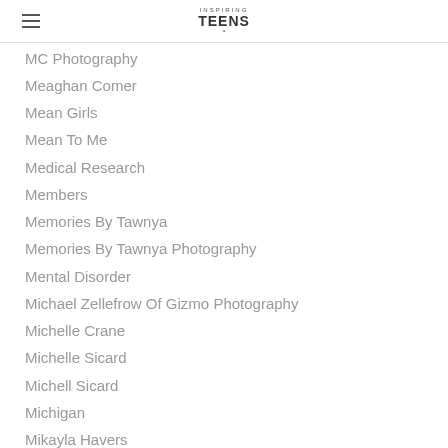Inspiring Teens
MC Photography
Meaghan Comer
Mean Girls
Mean To Me
Medical Research
Members
Memories By Tawnya
Memories By Tawnya Photography
Mental Disorder
Michael Zellefrow Of Gizmo Photography
Michelle Crane
Michelle Sicard
Michell Sicard
Michigan
Mikayla Havers
Military
Minnesota
Mississippi